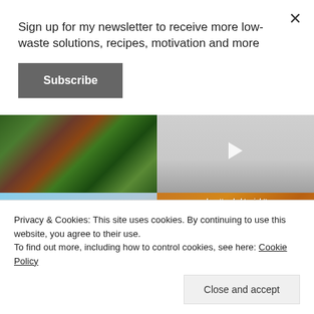Sign up for my newsletter to receive more low-waste solutions, recipes, motivation and more
Subscribe
[Figure (photo): Photo of fresh vegetables including beets, greens, and herbs on a dark surface]
[Figure (screenshot): Video thumbnail with play button, light gray background suggesting a bathroom or tiled surface]
[Figure (photo): Image with text overlay: 'Look what my kids found while dumpster diving!']
[Figure (photo): Orange-toned image with text: 'who attended tonight's ginger beer fundraiser workshop!']
Privacy & Cookies: This site uses cookies. By continuing to use this website, you agree to their use.
To find out more, including how to control cookies, see here: Cookie Policy
Close and accept